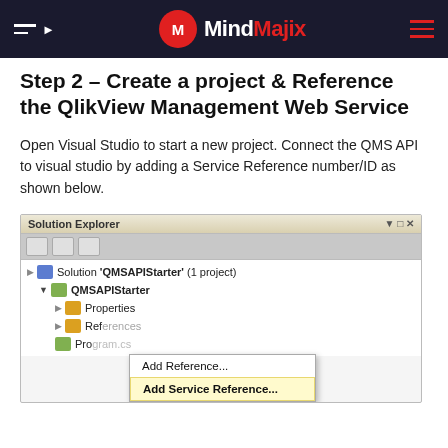MindMajix
Step 2 – Create a project & Reference the QlikView Management Web Service
Open Visual Studio to start a new project. Connect the QMS API to visual studio by adding a Service Reference number/ID as shown below.
[Figure (screenshot): Visual Studio Solution Explorer showing Solution 'QMSAPIStarter' (1 project) with QMSAPIStarter project expanded, showing Properties, References, and Program nodes. A right-click context menu is open showing 'Add Reference...' and 'Add Service Reference...' (highlighted in yellow).]